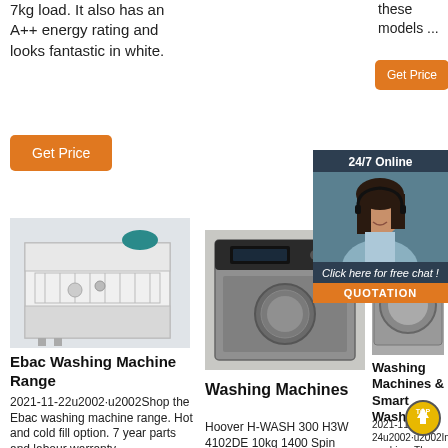7kg load. It also has an A++ energy rating and looks fantastic in white.
[Figure (other): Orange Get Price button on left]
these models ...
[Figure (other): Orange Get Price button on right]
[Figure (other): 24/7 Online chat widget with customer service agent photo and QUOTATION button]
[Figure (photo): Ebac dishwasher/washing machine product photo]
[Figure (photo): Hoover H-WASH 300 washing machine product photo]
[Figure (photo): Washing machine product photo right column]
Ebac Washing Machine Range
2021-11-22u2002·u2002Shop the Ebac washing machine range. Hot and cold fill option. 7 year parts and labour warranty.
Washing Machines
Hoover H-WASH 300 H3W 4102DE 10kg 1400 Spin Washing Machine - White. £329.99.
Washing Machines & Smart Washers
2021-11-24u2002·u2002Intelligent washing. The simple-to-use AI-Powered Smart Dial learns and